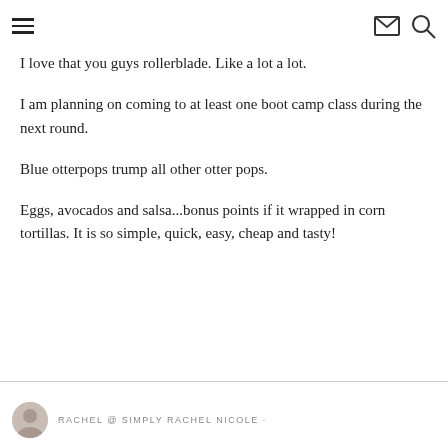navigation header with hamburger menu, email icon, and search icon
I love that you guys rollerblade. Like a lot a lot.
I am planning on coming to at least one boot camp class during the next round.
Blue otterpops trump all other otter pops.
Eggs, avocados and salsa...bonus points if it wrapped in corn tortillas. It is so simple, quick, easy, cheap and tasty!
RACHEL @ SIMPLY RACHEL NICOLE ·